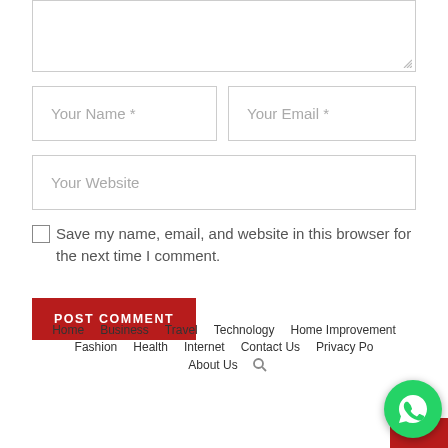[Figure (screenshot): Web form textarea (top portion, partially visible)]
Your Name *
Your Email *
Your Website
Save my name, email, and website in this browser for the next time I comment.
POST COMMENT
Home  Business  Travel  Technology  Home Improvement  Fashion  Health  Internet  Contact Us  Privacy Po...  About Us